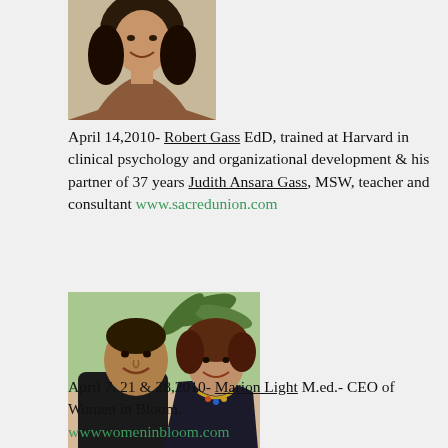[Figure (photo): Headshot of a woman with curly hair, smiling]
April 14,2010- Robert Gass EdD, trained at Harvard in clinical psychology and organizational development & his partner of 37 years Judith Ansara Gass, MSW, teacher and consultant www.sacredunion.com
[Figure (photo): Photo of a couple outdoors, man in black shirt and woman with curly hair, smiling]
April 7, 21 & 28,2010- Marion Light M.ed.- CEO of Women in Bloom. wwwwomeninbloom.com